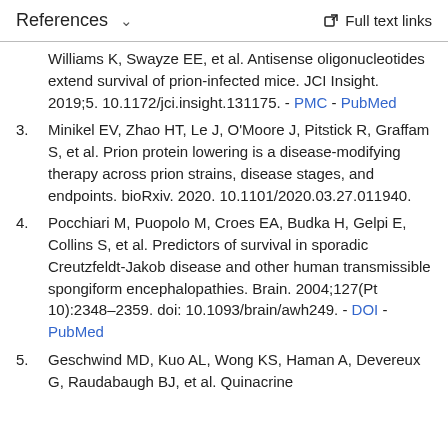References   ∨   Full text links
Williams K, Swayze EE, et al. Antisense oligonucleotides extend survival of prion-infected mice. JCI Insight. 2019;5. 10.1172/jci.insight.131175. - PMC - PubMed
3. Minikel EV, Zhao HT, Le J, O'Moore J, Pitstick R, Graffam S, et al. Prion protein lowering is a disease-modifying therapy across prion strains, disease stages, and endpoints. bioRxiv. 2020. 10.1101/2020.03.27.011940.
4. Pocchiari M, Puopolo M, Croes EA, Budka H, Gelpi E, Collins S, et al. Predictors of survival in sporadic Creutzfeldt-Jakob disease and other human transmissible spongiform encephalopathies. Brain. 2004;127(Pt 10):2348–2359. doi: 10.1093/brain/awh249. - DOI - PubMed
5. Geschwind MD, Kuo AL, Wong KS, Haman A, Devereux G, Raudabaugh BJ, et al. Quinacrine